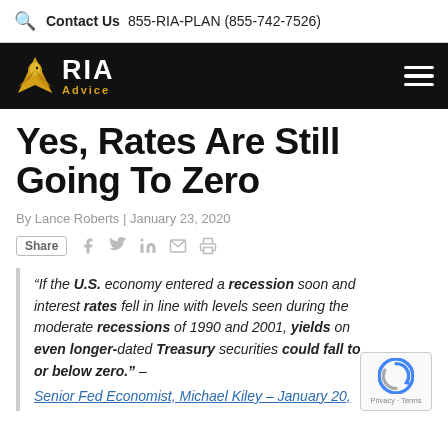Contact Us  855-RIA-PLAN (855-742-7526)
[Figure (logo): RIA Advice logo with eagle icon on black navigation bar]
Yes, Rates Are Still Going To Zero
By Lance Roberts | January 23, 2020
Share [social icons: Facebook, Twitter, LinkedIn, Email, Print]
“If the U.S. economy entered a recession soon and interest rates fell in line with levels seen during the moderate recessions of 1990 and 2001, yields on even longer-dated Treasury securities could fall to or below zero.” – Senior Fed Economist, Michael Kiley – January 20,